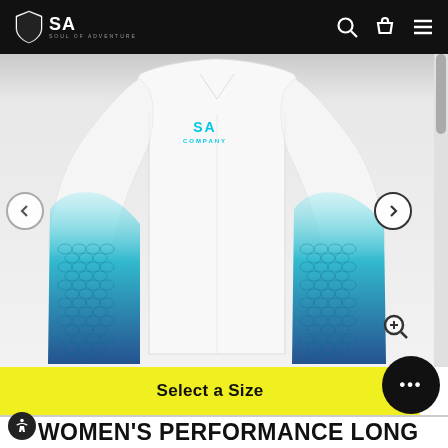[Figure (logo): SA Soul of Adventure logo — white shield icon with SA text on black navigation bar]
[Figure (photo): Women's long-sleeve performance fishing shirt, white body with blue/teal fish scale pattern on the sleeves, SA Company logo on chest]
Select a Size
WOMEN'S PERFORMANCE LONG